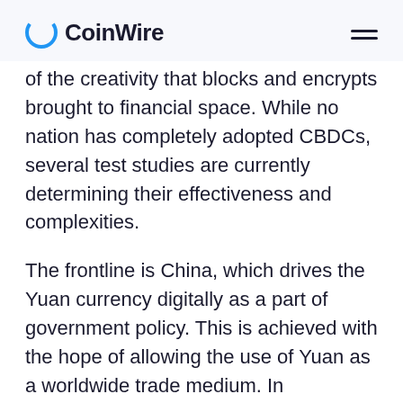CoinWire
of the creativity that blocks and encrypts brought to financial space. While no nation has completely adopted CBDCs, several test studies are currently determining their effectiveness and complexities.
The frontline is China, which drives the Yuan currency digitally as a part of government policy. This is achieved with the hope of allowing the use of Yuan as a worldwide trade medium. In Shenzhen, Suzhou and others, China has conducted several pilot projects in 2014. China is sure